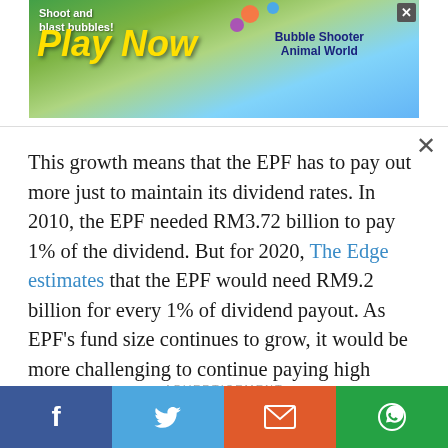[Figure (screenshot): Top advertisement banner with colorful bubble shooter game, text 'Shoot and blast bubbles! Play Now' and 'Bubble Shooter Animal World' with close button X]
This growth means that the EPF has to pay out more just to maintain its dividend rates. In 2010, the EPF needed RM3.72 billion to pay 1% of the dividend. But for 2020, The Edge estimates that the EPF would need RM9.2 billion for every 1% of dividend payout. As EPF's fund size continues to grow, it would be more challenging to continue paying high dividend rates in the future.
ADVERTISEMENT
[Figure (screenshot): Bottom advertisement banner, partially visible, teal/green gradient background]
[Figure (screenshot): Social media share bar with Facebook, Twitter, Email, and WhatsApp buttons]